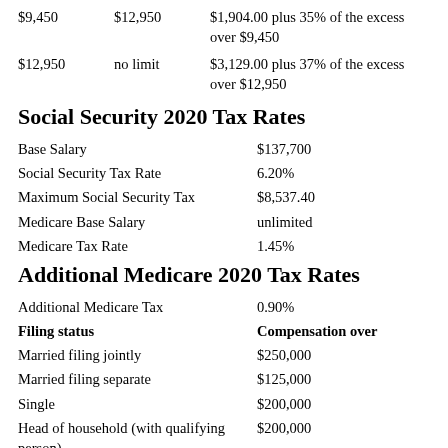| From | To | Tax |
| --- | --- | --- |
| $9,450 | $12,950 | $1,904.00 plus 35% of the excess over $9,450 |
| $12,950 | no limit | $3,129.00 plus 37% of the excess over $12,950 |
Social Security 2020 Tax Rates
| Item | Value |
| --- | --- |
| Base Salary | $137,700 |
| Social Security Tax Rate | 6.20% |
| Maximum Social Security Tax | $8,537.40 |
| Medicare Base Salary | unlimited |
| Medicare Tax Rate | 1.45% |
Additional Medicare 2020 Tax Rates
| Filing status | Compensation over |
| --- | --- |
| Additional Medicare Tax | 0.90% |
| Married filing jointly | $250,000 |
| Married filing separate | $125,000 |
| Single | $200,000 |
| Head of household (with qualifying person) | $200,000 |
| Qualifying widow(er) with dependent child | $200,000 |